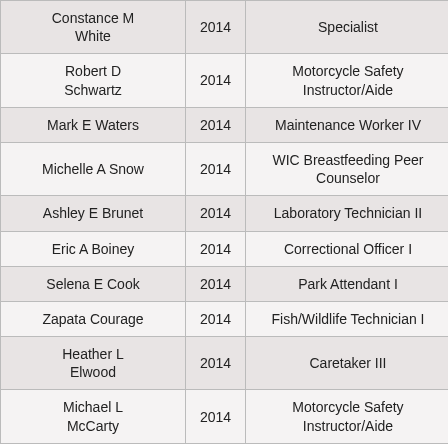| Name | Year | Job Title | Department |
| --- | --- | --- | --- |
| Constance M White | 2014 | Specialist | Heal... |
| Robert D Schwartz | 2014 | Motorcycle Safety Instructor/Aide | Transpo... |
| Mark E Waters | 2014 | Maintenance Worker IV | Transpo... |
| Michelle A Snow | 2014 | WIC Breastfeeding Peer Counselor | Heal... |
| Ashley E Brunet | 2014 | Laboratory Technician II | Heal... |
| Eric A Boiney | 2014 | Correctional Officer I | Correc... |
| Selena E Cook | 2014 | Park Attendant I | Parks & Re... |
| Zapata Courage | 2014 | Fish/Wildlife Technician I | Fish & W... |
| Heather L Elwood | 2014 | Caretaker III | Commerce/C... Develop... |
| Michael L McCarty | 2014 | Motorcycle Safety Instructor/Aide | Transpo... |